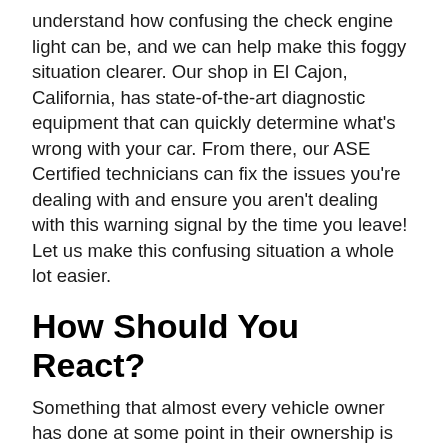understand how confusing the check engine light can be, and we can help make this foggy situation clearer. Our shop in El Cajon, California, has state-of-the-art diagnostic equipment that can quickly determine what's wrong with your car. From there, our ASE Certified technicians can fix the issues you're dealing with and ensure you aren't dealing with this warning signal by the time you leave! Let us make this confusing situation a whole lot easier.
How Should You React?
Something that almost every vehicle owner has done at some point in their ownership is ignore a check engine light. And quite frankly, we understand why. The engine light doesn't tell you much and, after a while, many of us continue to drive and notice nothing wrong. A reason why people ignore it is that they simply don't know what to do, and we want to help with